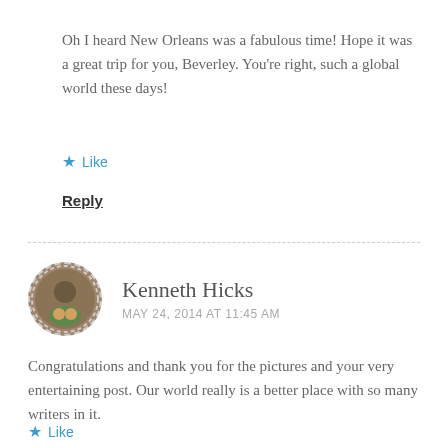Oh I heard New Orleans was a fabulous time! Hope it was a great trip for you, Beverley. You're right, such a global world these days!
★ Like
Reply
Kenneth Hicks
MAY 24, 2014 AT 11:45 AM
Congratulations and thank you for the pictures and your very entertaining post. Our world really is a better place with so many writers in it.
★ Like